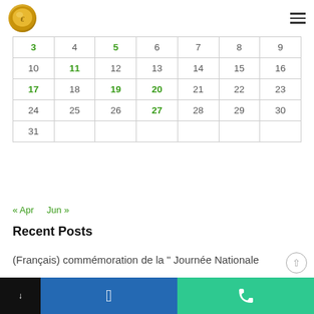[Logo] [Hamburger menu]
| 3 | 4 | 5 | 6 | 7 | 8 | 9 |
| 10 | 11 | 12 | 13 | 14 | 15 | 16 |
| 17 | 18 | 19 | 20 | 21 | 22 | 23 |
| 24 | 25 | 26 | 27 | 28 | 29 | 30 |
| 31 |  |  |  |  |  |  |
« Apr   Jun »
Recent Posts
(Français) commémoration de la " Journée Nationale
Moudiahid "
[dark button] [Facebook button] [Phone button]